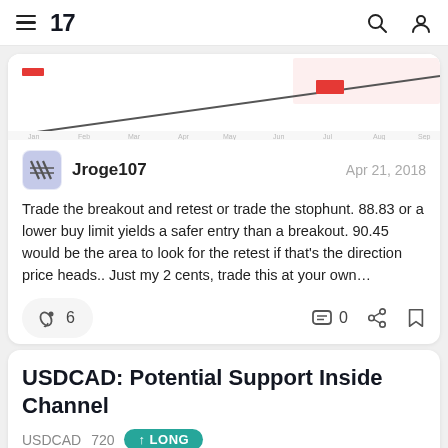TradingView navigation bar
[Figure (continuous-plot): Partial chart showing an ascending diagonal line with a red candlestick bar near the right side and a pink shaded region at top right]
Jroge107    Apr 21, 2018
Trade the breakout and retest or trade the stophunt. 88.83 or a lower buy limit yields a safer entry than a breakout. 90.45 would be the area to look for the retest if that's the direction price heads.. Just my 2 cents, trade this at your own…
6   0
USDCAD: Potential Support Inside Channel
USDCAD  720  ↑ LONG